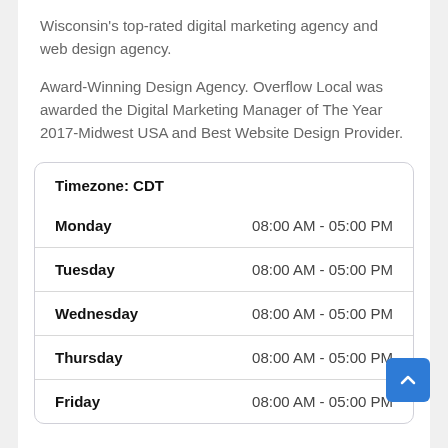Wisconsin's top-rated digital marketing agency and web design agency.
Award-Winning Design Agency. Overflow Local was awarded the Digital Marketing Manager of The Year 2017-Midwest USA and Best Website Design Provider.
| Day | Hours |
| --- | --- |
| Monday | 08:00 AM - 05:00 PM |
| Tuesday | 08:00 AM - 05:00 PM |
| Wednesday | 08:00 AM - 05:00 PM |
| Thursday | 08:00 AM - 05:00 PM |
| Friday | 08:00 AM - 05:00 PM |